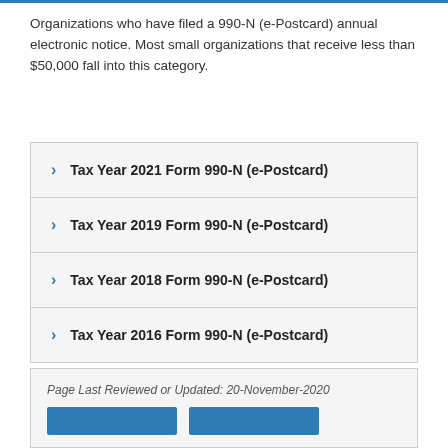Organizations who have filed a 990-N (e-Postcard) annual electronic notice. Most small organizations that receive less than $50,000 fall into this category.
Tax Year 2021 Form 990-N (e-Postcard)
Tax Year 2019 Form 990-N (e-Postcard)
Tax Year 2018 Form 990-N (e-Postcard)
Tax Year 2016 Form 990-N (e-Postcard)
Page Last Reviewed or Updated: 20-November-2020